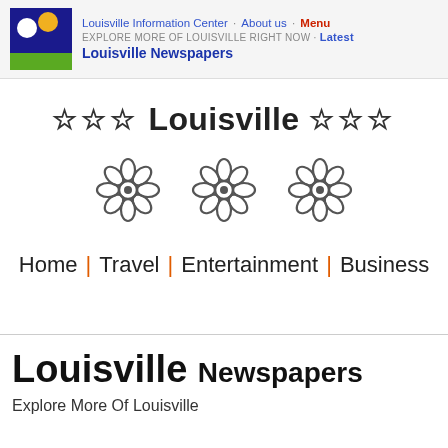Louisville Information Center · About us · Menu EXPLORE MORE OF LOUISVILLE RIGHT NOW · Latest Louisville Newspapers
☆☆☆ Louisville ☆☆☆
[Figure (illustration): Three decorative flower/rosette symbols in a row]
Home | Travel | Entertainment | Business
Louisville Newspapers
Explore More Of Louisville